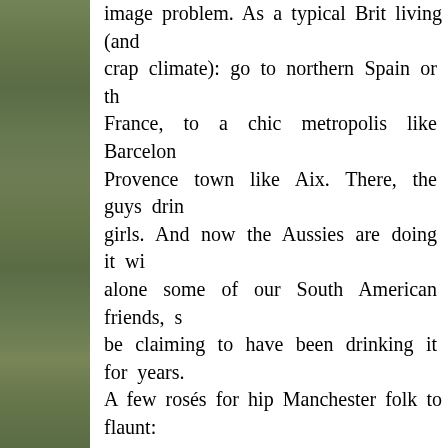[Figure (photo): Partial view of a green outdoor scene with trees or foliage, cropped to left edge of page]
image problem. As a typical Brit living (and crap climate): go to northern Spain or the France, to a chic metropolis like Barcelona Provence town like Aix. There, the guys drink girls. And now the Aussies are doing it with alone some of our South American friends, s be claiming to have been drinking it for years. A few rosés for hip Manchester folk to flaunt: Spain: 1997 Chivite Gran Feudo Garnacha fr about £4 in Carrington's (Didsbury, Chorlto Oddbins and Thresher. France: 1997 Château la Moutète, Côtes d £11.95 at The French Brasserie (the Downs, A 1997 Château de Sours from Bordeaux: £5.99 (Ardwick & Stockport), Wine Cellar (Fallowfiel 1997 M&S Claret ... (Merlot £2.99 (Sainsbury